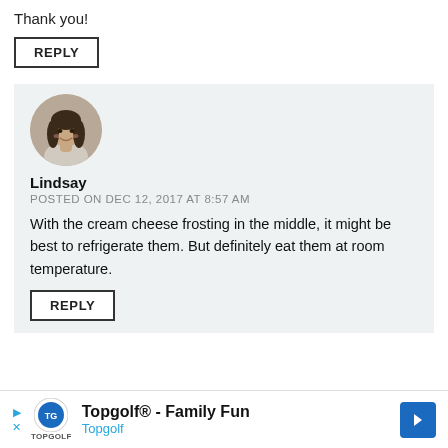Thank you!
REPLY
Lindsay
POSTED ON DEC 12, 2017 AT 8:57 AM
With the cream cheese frosting in the middle, it might be best to refrigerate them. But definitely eat them at room temperature.
REPLY
Topgolf® - Family Fun Topgolf